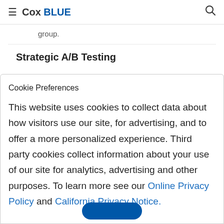≡ Cox BLUE 🔍
group.
Strategic A/B Testing
Cookie Preferences

This website uses cookies to collect data about how visitors use our site, for advertising, and to offer a more personalized experience. Third party cookies collect information about your use of our site for analytics, advertising and other purposes. To learn more see our Online Privacy Policy and California Privacy Notice.